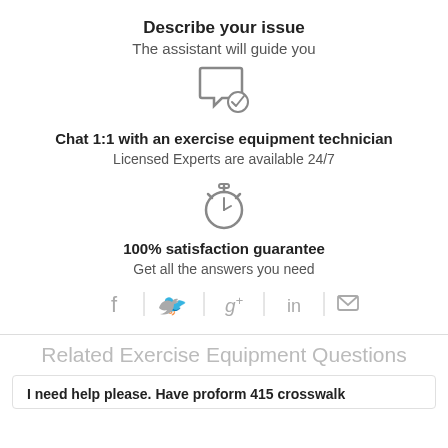Describe your issue
The assistant will guide you
[Figure (illustration): Chat bubble with checkmark icon]
Chat 1:1 with an exercise equipment technician
Licensed Experts are available 24/7
[Figure (illustration): Stopwatch/timer icon]
100% satisfaction guarantee
Get all the answers you need
[Figure (infographic): Social sharing icons: Facebook, Twitter, Google+, LinkedIn, Email]
Related Exercise Equipment Questions
I need help please. Have proform 415 crosswalk